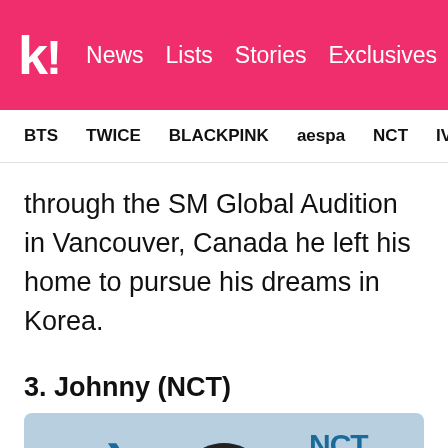k! News  Lists  Stories  Exclusives
BTS  TWICE  BLACKPINK  aespa  NCT  IVE  SHINE
through the SM Global Audition in Vancouver, Canada he left his home to pursue his dreams in Korea.
3. Johnny (NCT)
[Figure (photo): Photo of Johnny from NCT at an event, with Korean text and chevron logos in background]